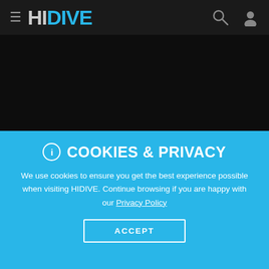≡ HIDIVE
[Figure (screenshot): Dark background area of HIDIVE streaming website with a partially visible thumbnail image in the bottom right corner]
ⓘ COOKIES & PRIVACY
We use cookies to ensure you get the best experience possible when visiting HIDIVE. Continue browsing if you are happy with our Privacy Policy
ACCEPT